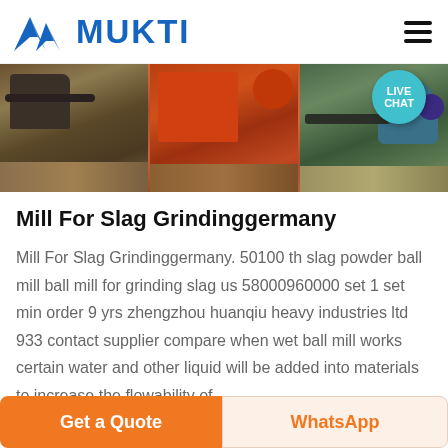MUKTI
[Figure (photo): Banner showing three mining/crushing machinery images side by side with a Live Chat bubble in the top right corner]
Mill For Slag Grindinggermany
Mill For Slag Grindinggermany. 50100 th slag powder ball mill ball mill for grinding slag us 58000960000 set 1 set min order 9 yrs zhengzhou huanqiu heavy industries ltd 933 contact supplier compare when wet ball mill works certain water and other liquid will be added into materials to increase the flowability of
Get a Quote
WhatsApp